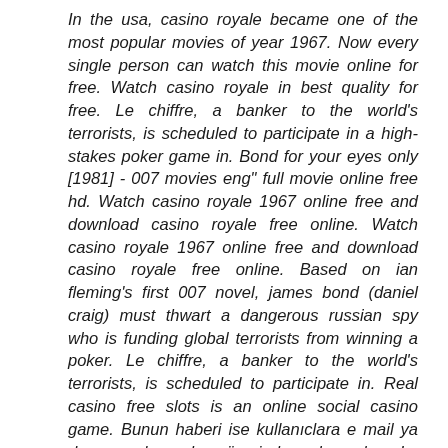In the usa, casino royale became one of the most popular movies of year 1967. Now every single person can watch this movie online for free. Watch casino royale in best quality for free. Le chiffre, a banker to the world's terrorists, is scheduled to participate in a high-stakes poker game in. Bond for your eyes only [1981] - 007 movies eng" full movie online free hd. Watch casino royale 1967 online free and download casino royale free online. Watch casino royale 1967 online free and download casino royale free online. Based on ian fleming's first 007 novel, james bond (daniel craig) must thwart a dangerous russian spy who is funding global terrorists from winning a poker. Le chiffre, a banker to the world's terrorists, is scheduled to participate in. Real casino free slots is an online social casino game. Bunun haberi ise kullanıclara e mail ya da sosyal medya üzerinden duyurulur. Le chiffre, a banker to the world's terrorists, is advised to take part in a highstakes poker